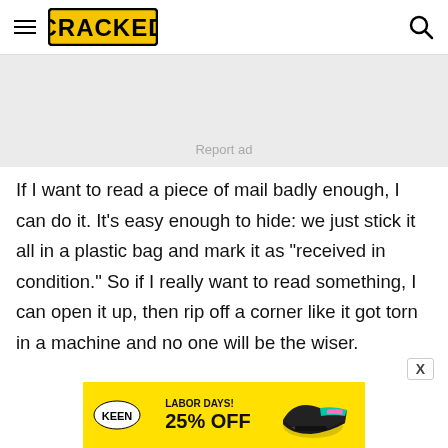CRACKED
[Figure (other): Gray advertisement placeholder box with 'Report ad' text centered at bottom]
If I want to read a piece of mail badly enough, I can do it. It's easy enough to hide: we just stick it all in a plastic bag and mark it as "received in condition." So if I really want to read something, I can open it up, then rip off a corner like it got torn in a machine and no one will be the wiser.
[Figure (other): Keen shoes advertisement banner: LABOR DAYS! 25% OFF with shoe images and Keen logo]